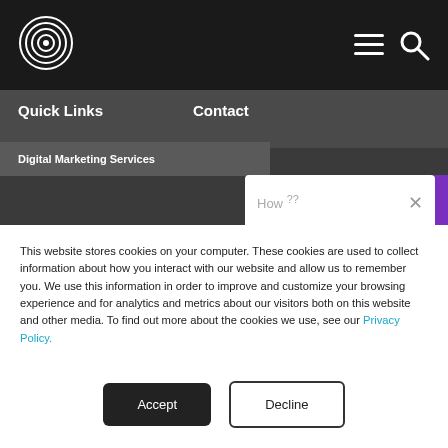[Figure (logo): Circular concentric rings logo in white on dark background]
Quick Links
Contact
Digital Marketing Services
This website stores cookies on your computer. These cookies are used to collect information about how you interact with our website and allow us to remember you. We use this information in order to improve and customize your browsing experience and for analytics and metrics about our visitors both on this website and other media. To find out more about the cookies we use, see our Privacy Policy.
If you decline, your information won't be tracked when you visit this website. A single cookie will be used in your browser to remember your preference not to be tracked.
Accept
Decline